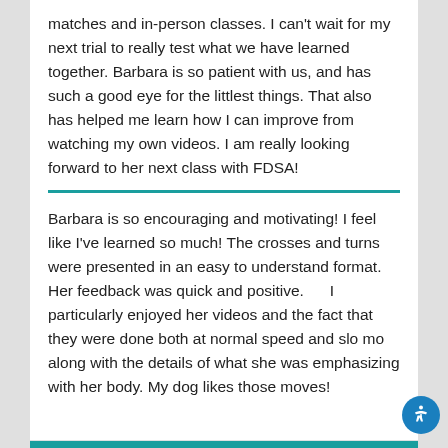matches and in-person classes. I can't wait for my next trial to really test what we have learned together. Barbara is so patient with us, and has such a good eye for the littlest things. That also has helped me learn how I can improve from watching my own videos. I am really looking forward to her next class with FDSA!
Barbara is so encouraging and motivating! I feel like I've learned so much! The crosses and turns were presented in an easy to understand format. Her feedback was quick and positive.      I particularly enjoyed her videos and the fact that they were done both at normal speed and slo mo along with the details of what she was emphasizing with her body. My dog likes those moves!